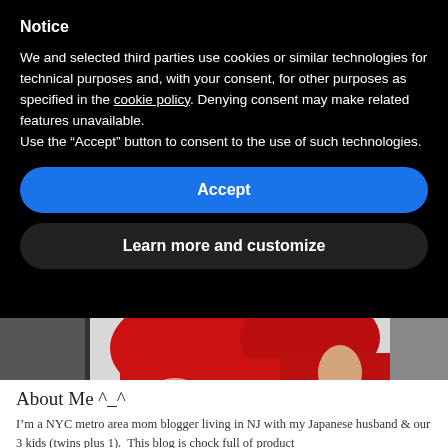Notice
We and selected third parties use cookies or similar technologies for technical purposes and, with your consent, for other purposes as specified in the cookie policy. Denying consent may make related features unavailable.
Use the “Accept” button to consent to the use of such technologies.
[Figure (screenshot): Blue rounded button labeled Accept]
[Figure (screenshot): Dark rounded button labeled Learn more and customize]
[Figure (photo): Partial photo of children in red clothing on a light background]
About Me ^_^
I’m a NYC metro area mom blogger living in NJ with my Japanese husband & our 3 kids (twins plus 1).  This blog is chock full of product